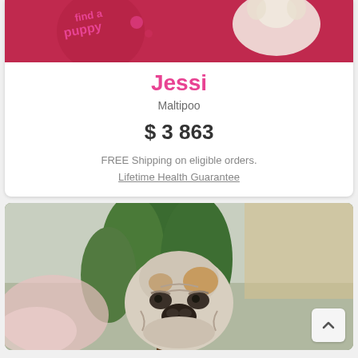[Figure (photo): Top portion of a pet listing card showing a red/pink background with a puppy and a logo that appears to read 'find a puppy' in pink text]
Jessi
Maltipoo
$ 3 863
FREE Shipping on eligible orders.
Lifetime Health Guarantee
[Figure (photo): Photo of a white and tan English Bulldog puppy with a wrinkled face, photographed outdoors near green plants and trees]